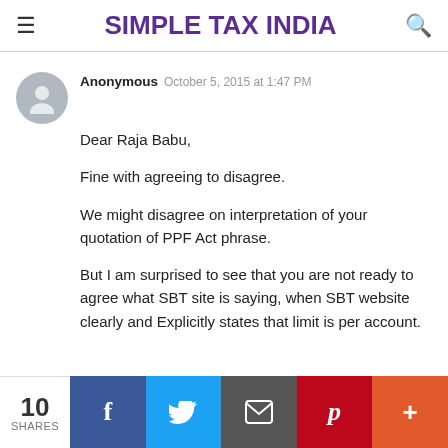SIMPLE TAX INDIA
Anonymous  October 5, 2015 at 1:47 PM
Dear Raja Babu,

Fine with agreeing to disagree.

We might disagree on interpretation of your quotation of PPF Act phrase.

But I am surprised to see that you are not ready to agree what SBT site is saying, when SBT website clearly and Explicitly states that limit is per account.


Regards,
-Praveen
REPLY